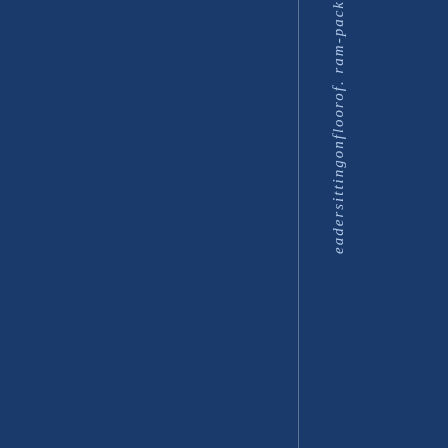[Figure (other): Dark navy blue background with a vertical thin line and rotated italic text reading 'eadersittingonfloorof. ram-pack' displayed vertically along the right portion of the page.]